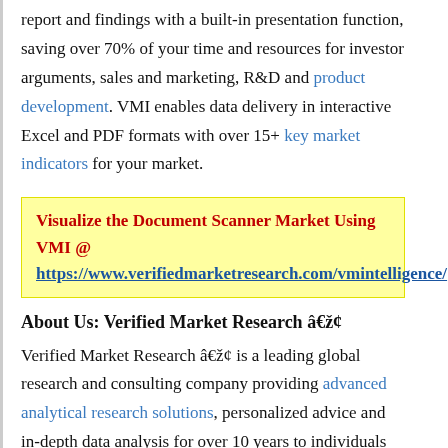report and findings with a built-in presentation function, saving over 70% of your time and resources for investor arguments, sales and marketing, R&D and product development. VMI enables data delivery in interactive Excel and PDF formats with over 15+ key market indicators for your market.
Visualize the Document Scanner Market Using VMI @ https://www.verifiedmarketresearch.com/vmintelligence/
About Us: Verified Market Research â„¢
Verified Market Research â„¢ is a leading global research and consulting company providing advanced analytical research solutions, personalized advice and in-depth data analysis for over 10 years to individuals and businesses